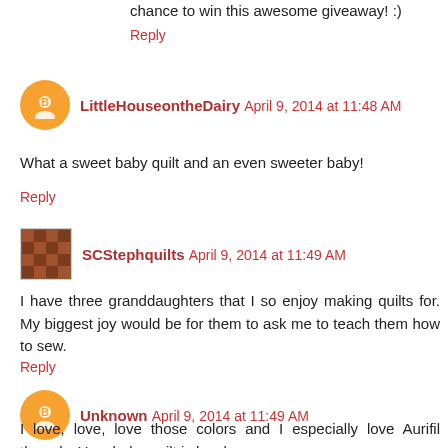chance to win this awesome giveaway! :)
Reply
LittleHouseontheDairy  April 9, 2014 at 11:48 AM
What a sweet baby quilt and an even sweeter baby!
Reply
SCStephquilts  April 9, 2014 at 11:49 AM
I have three granddaughters that I so enjoy making quilts for. My biggest joy would be for them to ask me to teach them how to sew.
Reply
Unknown  April 9, 2014 at 11:49 AM
I love, love, love those colors and I especially love Aurifil threads. Your baby quilt is lovely.